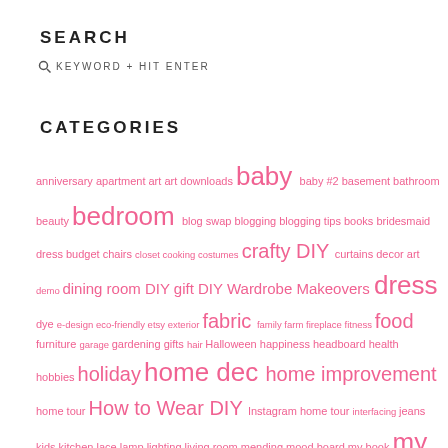SEARCH
KEYWORD + HIT ENTER
CATEGORIES
anniversary apartment art art downloads baby baby #2 basement bathroom beauty bedroom blog swap blogging blogging tips books bridesmaid dress budget chairs closet cooking costumes crafty DIY curtains decor art demo dining room DIY gift DIY Wardrobe Makeovers dress dye e-design eco-friendly etsy exterior fabric family farm fireplace fitness food furniture garage gardening gifts hair Halloween happiness headboard health hobbies holiday home dec home improvement home tour How to Wear DIY Instagram home tour interfacing jeans kids kitchen lace lamp lighting living room mending mood board my book my home nursery office One Room Challenge ORC Fall 2018 ORC Fall 2019 ORC Fall 2020 ORC Spring 2019 ORC Spring 2020 ORC Spring 2021 ORC Spring 2022 oregon organization paint Paleo parenting parenting choices parties passions patterns photography podcast Portland pregnancy primer project goals recipe recognition